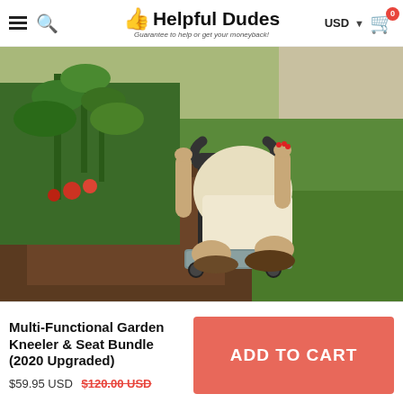Helpful Dudes – Guarantee to help or get your moneyback!
[Figure (photo): A person kneeling on a garden kneeler/seat device on green grass next to a garden bed, using the padded kneeler with metal frame handles. The product is a Multi-Functional Garden Kneeler & Seat Bundle.]
Multi-Functional Garden Kneeler & Seat Bundle (2020 Upgraded)
$59.95 USD $120.00 USD (strikethrough)
ADD TO CART